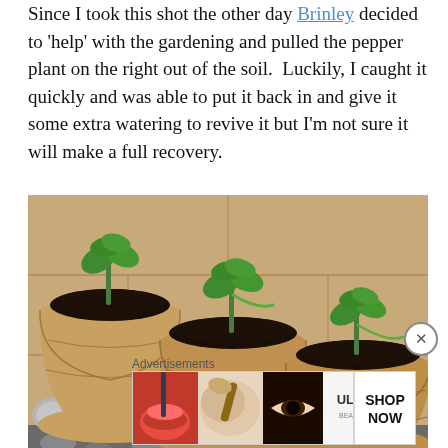Since I took this shot the other day Brinley decided to 'help' with the gardening and pulled the pepper plant on the right out of the soil.  Luckily, I caught it quickly and was able to put it back in and give it some extra watering to revive it but I'm not sure it will make a full recovery.
[Figure (photo): Three burlap sacks used as plant pots, each containing dark soil with a small green seedling (pepper plants) growing from the top. The sacks are arranged in a row against a light tan/beige wall, sitting on a gravel surface.]
Advertisements
[Figure (photo): Ulta Beauty advertisement banner showing makeup and cosmetic imagery with 'SHOP NOW' text on the right side.]